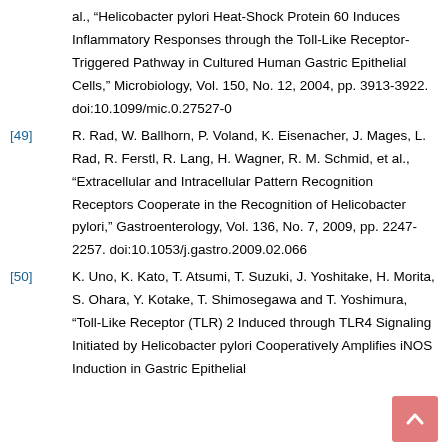al., "Helicobacter pylori Heat-Shock Protein 60 Induces Inflammatory Responses through the Toll-Like Receptor-Triggered Pathway in Cultured Human Gastric Epithelial Cells," Microbiology, Vol. 150, No. 12, 2004, pp. 3913-3922. doi:10.1099/mic.0.27527-0
[49] R. Rad, W. Ballhorn, P. Voland, K. Eisenacher, J. Mages, L. Rad, R. Ferstl, R. Lang, H. Wagner, R. M. Schmid, et al., "Extracellular and Intracellular Pattern Recognition Receptors Cooperate in the Recognition of Helicobacter pylori," Gastroenterology, Vol. 136, No. 7, 2009, pp. 2247-2257. doi:10.1053/j.gastro.2009.02.066
[50] K. Uno, K. Kato, T. Atsumi, T. Suzuki, J. Yoshitake, H. Morita, S. Ohara, Y. Kotake, T. Shimosegawa and T. Yoshimura, "Toll-Like Receptor (TLR) 2 Induced through TLR4 Signaling Initiated by Helicobacter pylori Cooperatively Amplifies iNOS Induction in Gastric Epithelial